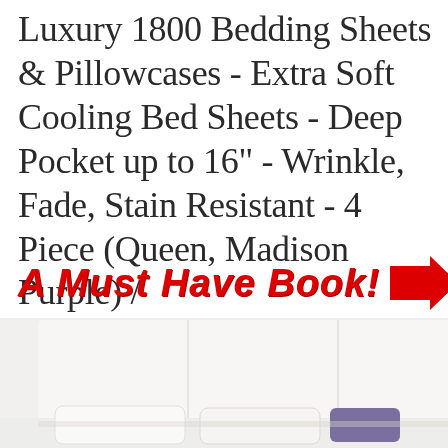Luxury 1800 Bedding Sheets & Pillowcases - Extra Soft Cooling Bed Sheets - Deep Pocket up to 16" - Wrinkle, Fade, Stain Resistant - 4 Piece (Queen, Madison Purple) /
[Figure (infographic): Red bold italic text reading 'A Must Have Book!' with a red right-pointing arrow icon to the right]
[Figure (photo): Photo of a bed with a white upholstered headboard, white bedding and pillows with purple accent pillow, and a beige curtain partially visible on the right side]